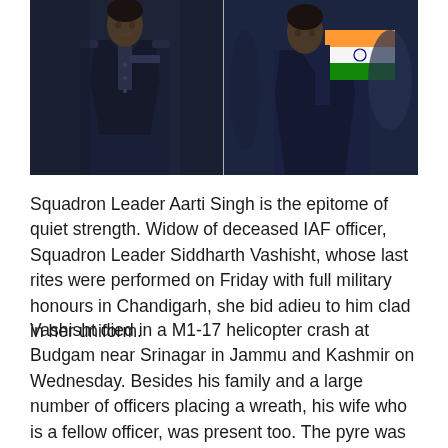[Figure (photo): Two photos side by side: left shows a person in dark IAF uniform with name badge, right shows a person in IAF uniform holding an Indian flag-draped item]
Squadron Leader Aarti Singh is the epitome of quiet strength. Widow of deceased IAF officer, Squadron Leader Siddharth Vashisht, whose last rites were performed on Friday with full military honours in Chandigarh, she bid adieu to him clad in her uniform.
Vashisht died in a M1-17 helicopter crash at Budgam near Srinagar in Jammu and Kashmir on Wednesday. Besides his family and a large number of officers placing a wreath, his wife who is a fellow officer, was present too. The pyre was lit by the father of officer, Jagdish Kasal. Senior civil and defence